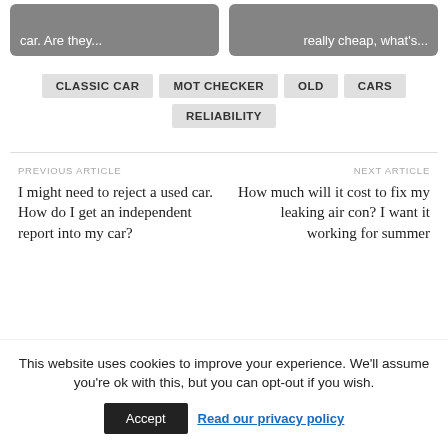car. Are they...
really cheap, what's...
CLASSIC CAR
MOT CHECKER
OLD CARS
RELIABILITY
PREVIOUS ARTICLE
I might need to reject a used car. How do I get an independent report into my car?
NEXT ARTICLE
How much will it cost to fix my leaking air con? I want it working for summer
This website uses cookies to improve your experience. We'll assume you're ok with this, but you can opt-out if you wish.
Accept
Read our privacy policy